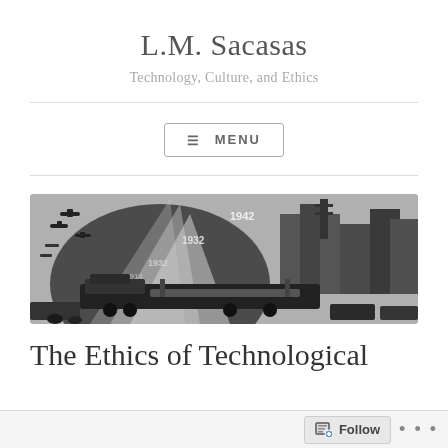L.M. Sacasas
Technology, Culture, and Ethics
≡ MENU
[Figure (photo): Black and white historical illustration showing industrial and technological scenes across different years (1922, 1932, 1942), featuring aircraft, trains, automobiles, and urban infrastructure.]
The Ethics of Technological
Follow